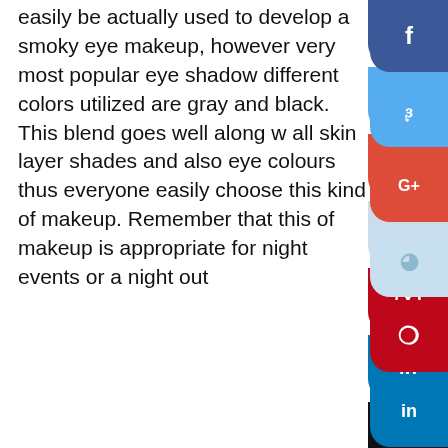easily be actually used to develop a smoky eye makeup, however very most popular eye shadow different colors utilized are gray and black. This blend goes well along with all skin layer shades and also eye colours thus everyone can easily choose this kind of makeup. Remember that this kind of makeup is appropriate for night events or a night out
Beauty
About the author